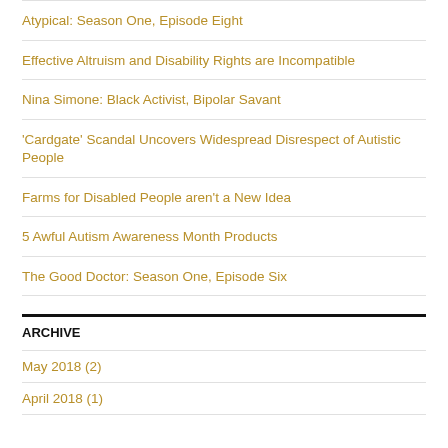Atypical: Season One, Episode Eight
Effective Altruism and Disability Rights are Incompatible
Nina Simone: Black Activist, Bipolar Savant
'Cardgate' Scandal Uncovers Widespread Disrespect of Autistic People
Farms for Disabled People aren't a New Idea
5 Awful Autism Awareness Month Products
The Good Doctor: Season One, Episode Six
ARCHIVE
May 2018 (2)
April 2018 (1)